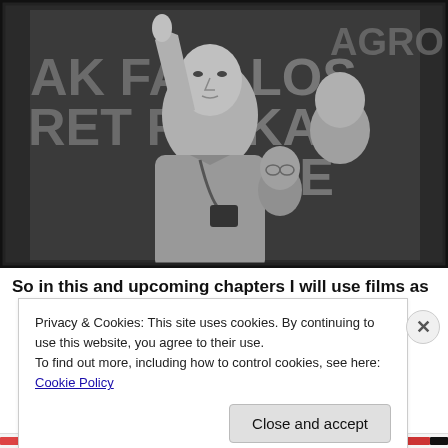[Figure (photo): Black and white photograph of a man holding up a film strip or small object to the light, with a camera around his neck, and two other men visible behind him. Text on a board in the background partially reads: AK FA, RET F, LOS, KA, ESE, AGROV.]
So in this and upcoming chapters I will use films as
Privacy & Cookies: This site uses cookies. By continuing to use this website, you agree to their use.
To find out more, including how to control cookies, see here: Cookie Policy
Close and accept